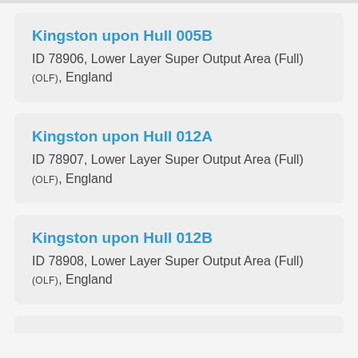Kingston upon Hull 005B
ID 78906, Lower Layer Super Output Area (Full) (OLF), England
Kingston upon Hull 012A
ID 78907, Lower Layer Super Output Area (Full) (OLF), England
Kingston upon Hull 012B
ID 78908, Lower Layer Super Output Area (Full) (OLF), England